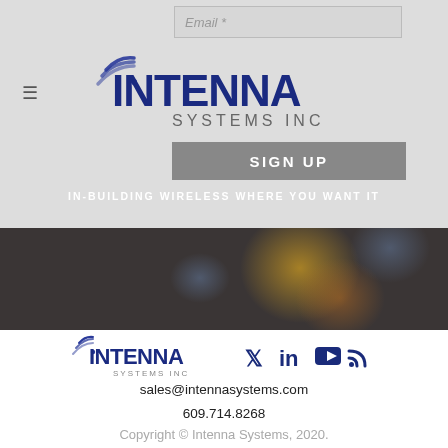[Figure (screenshot): Intenna Systems Inc website screenshot with header showing logo, email sign-up form, tagline, dark photo band, and footer with logo, social icons, contact info, and copyright]
Email *
[Figure (logo): Intenna Systems Inc logo - blue stylized text with wifi signal graphic]
SIGN UP
IN-BUILDING WIRELESS WHERE YOU WANT IT
[Figure (logo): Intenna Systems Inc footer logo with social icons (Twitter, LinkedIn, YouTube, RSS)]
sales@intennasystems.com
609.714.8268
Copyright © Intenna Systems, 2020.